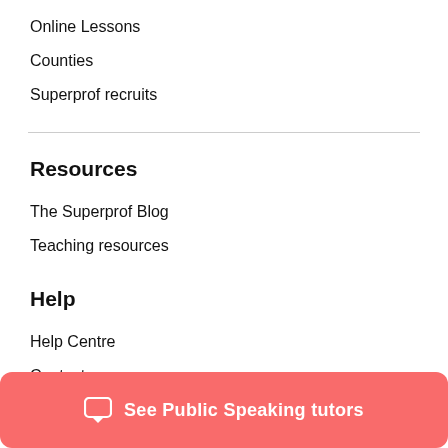Online Lessons
Counties
Superprof recruits
Resources
The Superprof Blog
Teaching resources
Help
Help Centre
Contact
See Public Speaking tutors